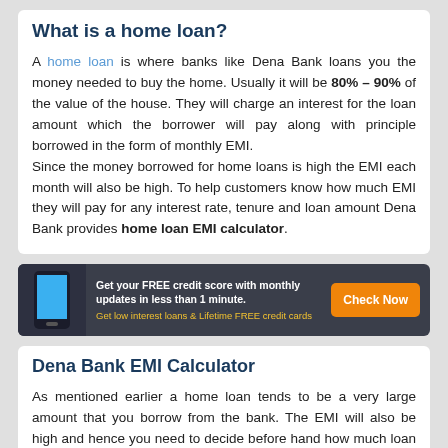What is a home loan?
A home loan is where banks like Dena Bank loans you the money needed to buy the home. Usually it will be 80% – 90% of the value of the house. They will charge an interest for the loan amount which the borrower will pay along with principle borrowed in the form of monthly EMI.
Since the money borrowed for home loans is high the EMI each month will also be high. To help customers know how much EMI they will pay for any interest rate, tenure and loan amount Dena Bank provides home loan EMI calculator.
[Figure (infographic): Advertisement banner with dark background showing a smartphone graphic on the left, text 'Get your FREE credit score with monthly updates in less than 1 minute. Get low interest loans & Lifetime FREE credit cards' in the center, and an orange 'Check Now' button on the right.]
Dena Bank EMI Calculator
As mentioned earlier a home loan tends to be a very large amount that you borrow from the bank. The EMI will also be high and hence you need to decide before hand how much loan amount you want, what interest rate you are comfortable